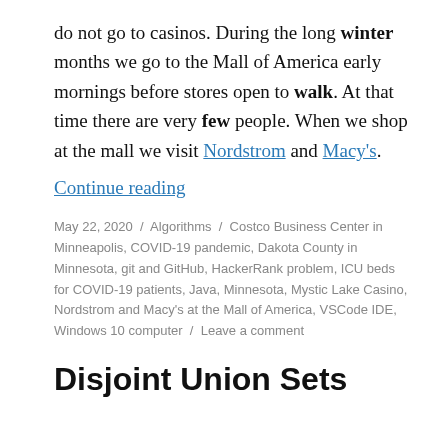do not go to casinos. During the long winter months we go to the Mall of America early mornings before stores open to walk. At that time there are very few people. When we shop at the mall we visit Nordstrom and Macy's.
Continue reading
May 22, 2020 / Algorithms / Costco Business Center in Minneapolis, COVID-19 pandemic, Dakota County in Minnesota, git and GitHub, HackerRank problem, ICU beds for COVID-19 patients, Java, Minnesota, Mystic Lake Casino, Nordstrom and Macy's at the Mall of America, VSCode IDE, Windows 10 computer / Leave a comment
Disjoint Union Sets